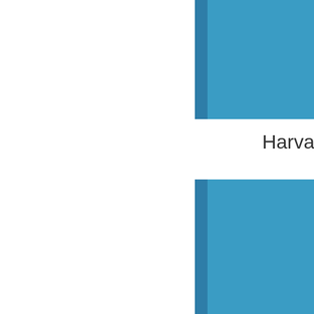[Figure (illustration): Blue rectangular block at the top center of the page, with a darker blue left edge stripe, representing a book or report cover element.]
Harvard Child Health Project.
[Figure (illustration): Blue rectangular block in the lower center of the page, with a darker blue left edge stripe, representing a book or report cover element.]